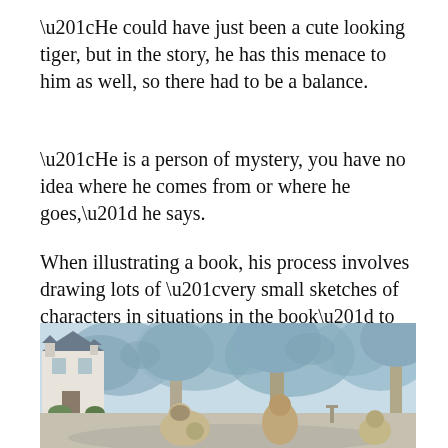“He could have just been a cute looking tiger, but in the story, he has this menace to him as well, so there had to be a balance.
“He is a person of mystery, you have no idea where he comes from or where he goes,” he says.
When illustrating a book, his process involves drawing lots of “very small sketches of characters in situations in the book” to start with, and then developing them with greater detail.
[Figure (illustration): A children’s book illustration showing a garden scene with a large house on the left, trees in the middle and right, and several cartoon animal characters (possibly hedgehog-like creatures) in the foreground and mid-ground on a path or road. The color palette is soft blue-grey and brown tones.]